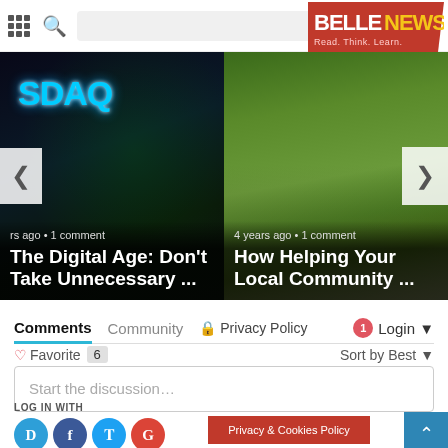BELLENEWS — Read. Think. Learn.
[Figure (screenshot): News carousel with two article cards: left card shows NASDAQ screen (The Digital Age: Don't Take Unnecessary ..., years ago, 1 comment) and right card shows outdoor community gathering (How Helping Your Local Community ..., 4 years ago, 1 comment). Navigation arrows on left and right.]
Comments  Community  Privacy Policy  Login
Favorite 6   Sort by Best
Start the discussion...
LOG IN WITH
Privacy & Cookies Policy